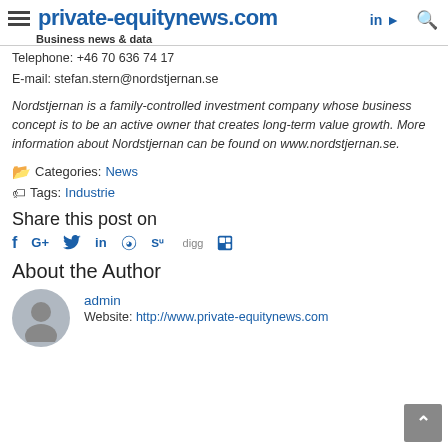private-equitynews.com — Business news & data
Telephone: +46 70 636 74 17
E-mail: stefan.stern@nordstjernan.se
Nordstjernan is a family-controlled investment company whose business concept is to be an active owner that creates long-term value growth. More information about Nordstjernan can be found on www.nordstjernan.se.
Categories: News
Tags: Industrie
Share this post on
[Figure (infographic): Social media share icons: Facebook (f), Google+ (G+), Twitter (bird), LinkedIn (in), Reddit, StumbleUpon, Digg, ShareThis]
About the Author
admin
Website: http://www.private-equitynews.com